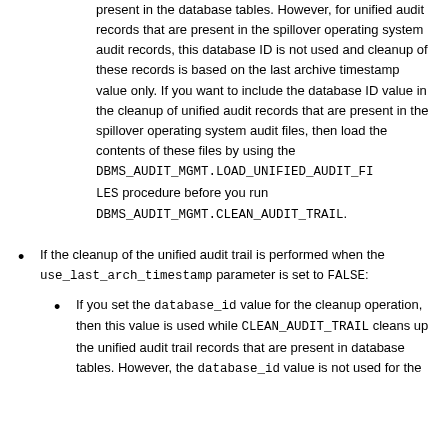present in the database tables. However, for unified audit records that are present in the spillover operating system audit records, this database ID is not used and cleanup of these records is based on the last archive timestamp value only. If you want to include the database ID value in the cleanup of unified audit records that are present in the spillover operating system audit files, then load the contents of these files by using the DBMS_AUDIT_MGMT.LOAD_UNIFIED_AUDIT_FILES procedure before you run DBMS_AUDIT_MGMT.CLEAN_AUDIT_TRAIL.
If the cleanup of the unified audit trail is performed when the use_last_arch_timestamp parameter is set to FALSE:
If you set the database_id value for the cleanup operation, then this value is used while CLEAN_AUDIT_TRAIL cleans up the unified audit trail records that are present in database tables. However, the database_id value is not used for the